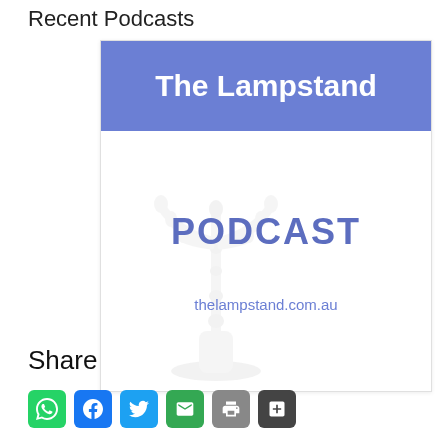Recent Podcasts
[Figure (illustration): The Lampstand Podcast card with blue banner header reading 'The Lampstand', a faded menorah illustration, bold blue text 'PODCAST', and website URL 'thelampstand.com.au']
Share
[Figure (infographic): Row of social sharing icon buttons: WhatsApp (green), Facebook (blue), Twitter (light blue), Email (green), Print (grey), Share (dark grey)]